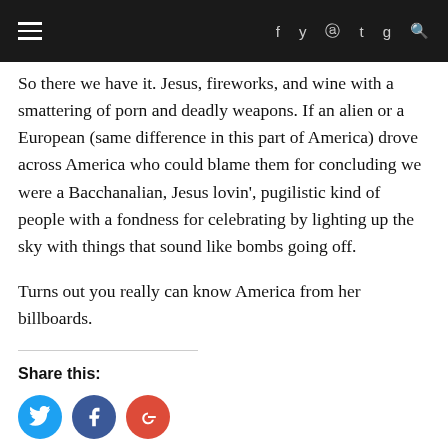≡  f  ✓  ⊕  t  g  🔍
So there we have it. Jesus, fireworks, and wine with a smattering of porn and deadly weapons. If an alien or a European (same difference in this part of America) drove across America who could blame them for concluding we were a Bacchanalian, Jesus lovin', pugilistic kind of people with a fondness for celebrating by lighting up the sky with things that sound like bombs going off.
Turns out you really can know America from her billboards.
Share this:
[Figure (other): Social share buttons: Twitter (blue circle), Facebook (dark blue circle), Google+ (red circle)]